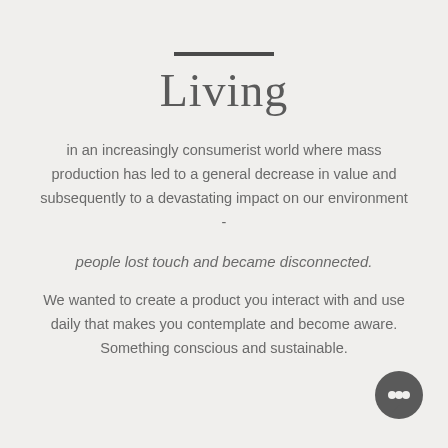Living
in an increasingly consumerist world where mass production has led to a general decrease in value and subsequently to a devastating impact on our environment -
people lost touch and became disconnected.
We wanted to create a product you interact with and use daily that makes you contemplate and become aware. Something conscious and sustainable.
[Figure (illustration): Dark grey speech bubble / chat icon in the bottom right corner]